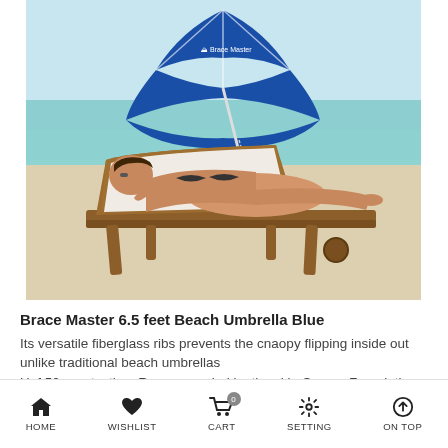[Figure (photo): Woman in bikini lying on a wooden lounge chair on a sandy beach under a blue Brace Master beach umbrella with ocean in background]
Brace Master 6.5 feet Beach Umbrella Blue
Its versatile fiberglass ribs prevents the cnaopy flipping inside out unlike traditional beach umbrellas
Upf 50+ protection, Recommended by the skin Cancer Foundation for UVA/UVB protection from the sun's rays
Beach Essentials Sand Anchor, handles make it easy to set
HOME  WISHLIST  CART  SETTING  ON TOP